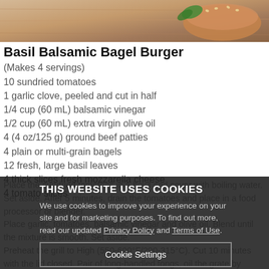[Figure (photo): Food photo showing a burger or bagel on a wooden surface with a basil leaf]
Basil Balsamic Bagel Burger
(Makes 4 servings)
10 sundried tomatoes
1 garlic clove, peeled and cut in half
1/4 cup (60 mL) balsamic vinegar
1/2 cup (60 mL) extra virgin olive oil
4 (4 oz/125 g) ground beef patties
4 plain or multi-grain bagels
12 fresh, large basil leaves
4 thick slices fresh mozzarella cheese
4 tomato slices
Place the sundried tomatoes in a bowl and cover with boiling water. Set aside. After 5 minutes, drain the tomatoes...
THIS WEBSITE USES COOKIES
We use cookies to improve your experience on your site and for marketing purposes. To find out more, read our updated Privacy Policy and Terms of Use.
Cookie Settings
Accept All Cookies